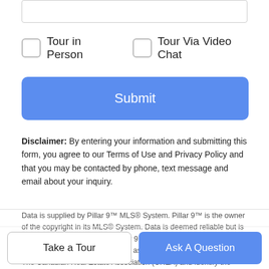[textarea input field]
Tour in Person
Tour Via Video Chat
Submit
Disclaimer: By entering your information and submitting this form, you agree to our Terms of Use and Privacy Policy and that you may be contacted by phone, text message and email about your inquiry.
Data is supplied by Pillar 9™ MLS® System. Pillar 9™ is the owner of the copyright in its MLS® System. Data is deemed reliable but is not guaranteed accurate by Pillar 9™. The trademarks MLS®, Multiple Listing Service® and the associated logos are owned by The Canadian Real Estate Association (CREA) and identify the quality of services provided by real estate professionals who are members of CREA. Used under license. Data last updated: 2022-09-05T16:29:59.913
Take a Tour
Ask A Question